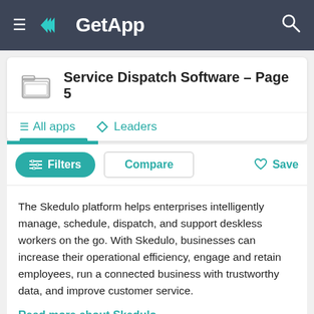GetApp
Service Dispatch Software - Page 5
All apps   Leaders
Filters   Compare   Save
The Skedulo platform helps enterprises intelligently manage, schedule, dispatch, and support deskless workers on the go. With Skedulo, businesses can increase their operational efficiency, engage and retain employees, run a connected business with trustworthy data, and improve customer service.
Read more about Skedulo